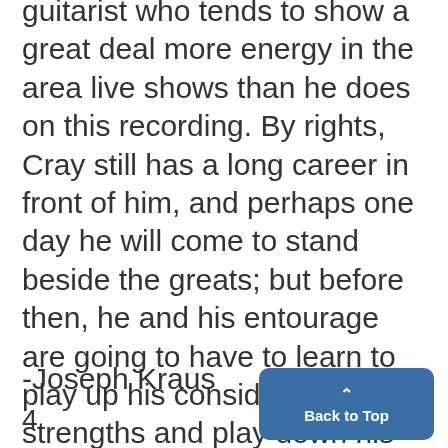guitarist who tends to show a great deal more energy in the area live shows than he does on this recording. By rights, Cray still has a long career in front of him, and perhaps one day he will come to stand beside the greats; but before then, he and his entourage are going to have to learn to play up his considerable strengths and play down his nagging weaknesses.
-Joseph Kraus
4